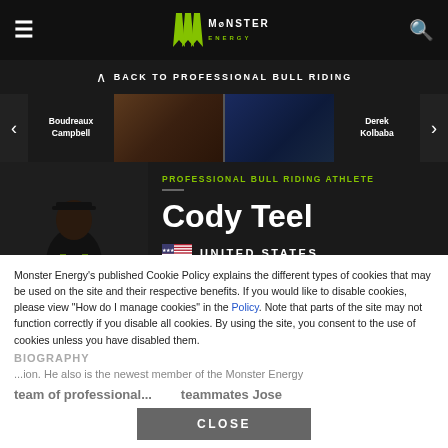Monster Energy — Navigation Bar
BACK TO PROFESSIONAL BULL RIDING
Boudreaux Campbell
Derek Kolbaba
PROFESSIONAL BULL RIDING ATHLETE
Cody Teel
UNITED STATES
GET SOCIAL
Monster Energy's published Cookie Policy explains the different types of cookies that may be used on the site and their respective benefits. If you would like to disable cookies, please view "How do I manage cookies" in the Policy. Note that parts of the site may not function correctly if you disable all cookies. By using the site, you consent to the use of cookies unless you have disabled them.
BIOGRAPHY
...ion. He also is the newest member of the Monster Energy team of professional...  teammates Jose...
CLOSE